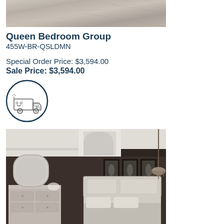[Figure (photo): Close-up photo of light gray/beige wood-look flooring with chevron or plank pattern]
Queen Bedroom Group
455W-BR-QSLDMN
Special Order Price: $3,594.00
Sale Price: $3,594.00
[Figure (illustration): Cartoon delivery truck icon inside a dark blue circle border]
[Figure (photo): Bedroom scene with dark brown walls, white/cream upholstered queen bed with ornate headboard, dresser with mirror, three framed botanical artwork prints, and a hanging chandelier]